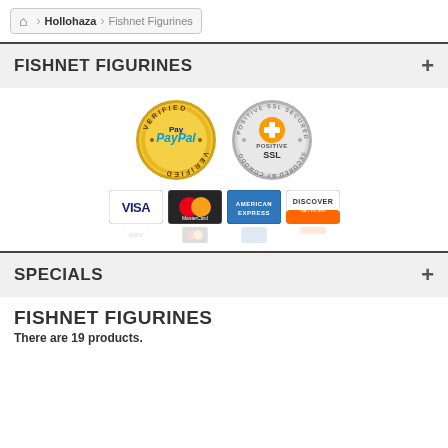Hollohaza > Fishnet Figurines
FISHNET FIGURINES
[Figure (logo): PayPal Verified seal, Positive SSL Secured Website badge, and credit card logos: VISA, MasterCard, American Express, Discover Network]
SPECIALS
FISHNET FIGURINES
There are 19 products.